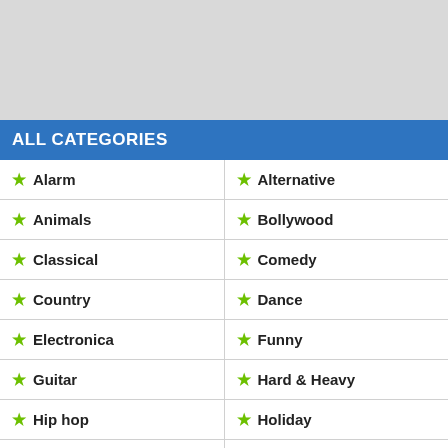[Figure (other): Gray banner placeholder area at top of page]
ALL CATEGORIES
Alarm
Alternative
Animals
Bollywood
Classical
Comedy
Country
Dance
Electronica
Funny
Guitar
Hard & Heavy
Hip hop
Holiday
Horror - Scary
Instrumental
International
iPhone